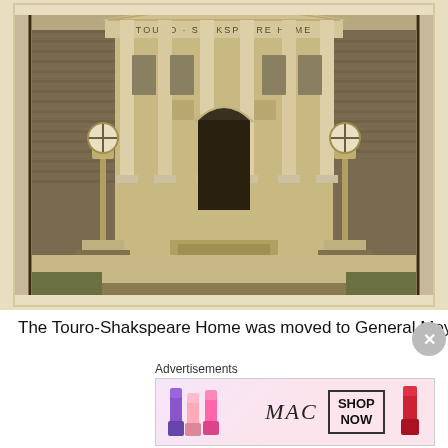[Figure (photo): Sepia-toned historical photograph of the Touro-Shakspeare Home building facade, showing a neoclassical structure with tall columns, arched doorway, ornamental lamp posts with globe lights on brick pedestals, and a fountain or planter in the foreground.]
The Touro-Shakspeare Home was moved to General Meyer
Advertisements
[Figure (photo): MAC Cosmetics advertisement showing colorful lipsticks (purple, pink, red) with the MAC logo and a SHOP NOW button.]